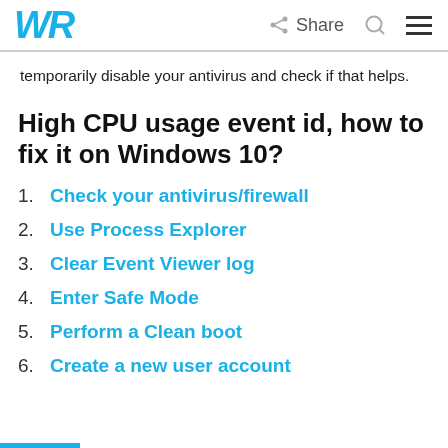WR  Share  [search icon]  [menu icon]
temporarily disable your antivirus and check if that helps.
High CPU usage event id, how to fix it on Windows 10?
1. Check your antivirus/firewall
2. Use Process Explorer
3. Clear Event Viewer log
4. Enter Safe Mode
5. Perform a Clean boot
6. Create a new user account